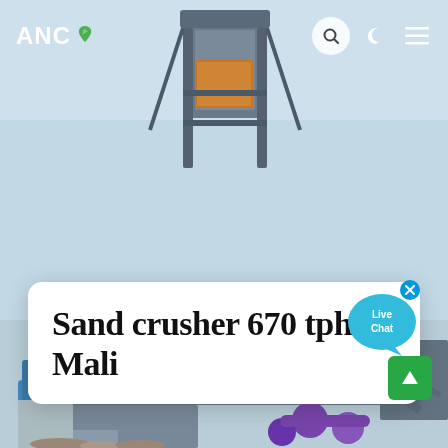[Figure (photo): Industrial sand crusher equipment with metal framework, conveyor structures, and pipes photographed outdoors against a light blue sky. Heavy grey steel structure visible with purple pipes in lower section.]
ANC [logo with leaf icon] — navigation bar with search, dark mode, and menu icons
Sand crusher 670 tph Mali
[Figure (infographic): Live Chat speech bubble widget in cyan/blue color with 'Live Chat' text and an 'x' close button in upper right corner]